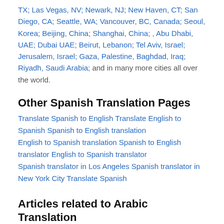TX; Las Vegas, NV; Newark, NJ; New Haven, CT; San Diego, CA; Seattle, WA; Vancouver, BC, Canada; Seoul, Korea; Beijing, China; Shanghai, China; , Abu Dhabi, UAE; Dubai UAE; Beirut, Lebanon; Tel Aviv, Israel; Jerusalem, Israel; Gaza, Palestine, Baghdad, Iraq; Riyadh, Saudi Arabia; and in many more cities all over the world.
Other Spanish Translation Pages
Translate Spanish to English Translate English to Spanish Spanish to English translation
English to Spanish translation Spanish to English translator English to Spanish translator
Spanish translator in Los Angeles Spanish translator in New York City Translate Spanish
Articles related to Arabic Translation
Arabic Language Facts